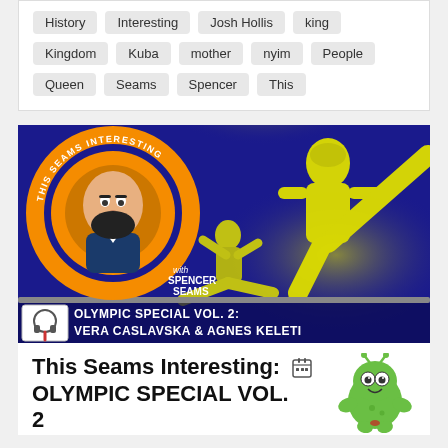History   Interesting   Josh Hollis   king   Kingdom   Kuba   mother   nyim   People   Queen   Seams   Spencer   This
[Figure (illustration): Podcast cover image for 'This Seams Interesting: Olympic Special Vol. 2: Vera Caslavska & Agnes Keleti'. Dark blue background with yellow gymnast silhouettes, orange circle logo with cartoon host, and white text banner at bottom.]
This Seams Interesting: OLYMPIC SPECIAL VOL. 2